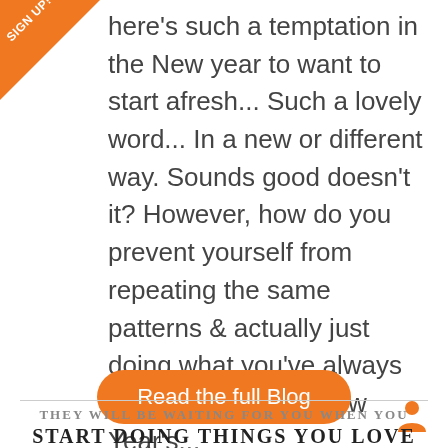[Figure (other): Orange triangular SIGN UP! badge in top-left corner]
here's such a temptation in the New year to want to start afresh... Such a lovely word... In a new or different way. Sounds good doesn't it? However, how do you prevent yourself from repeating the same patterns & actually just doing what you've always done each year... New Year's...
Read the full Blog
THEY WILL BE WAITING FOR YOU WHEN YOU START DOING THINGS YOU LOVE